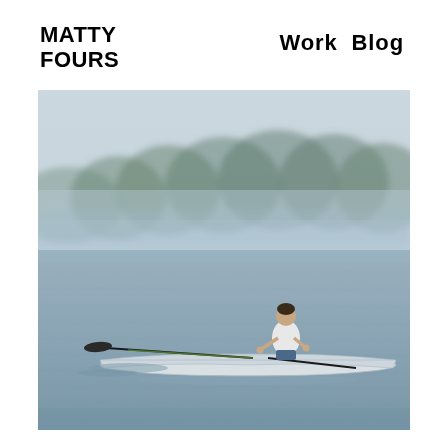MATTY FOURS   Work Blog
[Figure (photo): A rower in a single scull rowing boat on a misty lake, surrounded by trees in the background. The water is calm and grey-blue, and the scene has a hazy, foggy atmosphere. The rower is wearing a white shirt and holding two oars extended outward.]